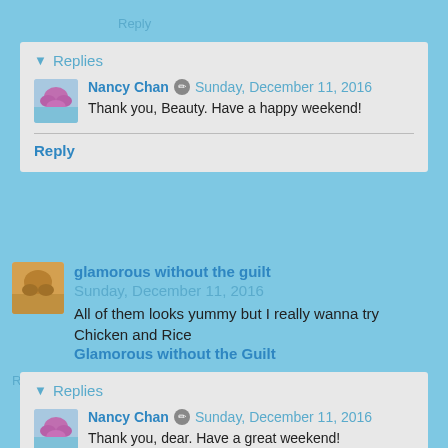Reply
Replies
Nancy Chan  Sunday, December 11, 2016
Thank you, Beauty. Have a happy weekend!
Reply
glamorous without the guilt  Sunday, December 11, 2016
All of them looks yummy but I really wanna try Chicken and Rice
Glamorous without the Guilt
Reply
Replies
Nancy Chan  Sunday, December 11, 2016
Thank you, dear. Have a great weekend!